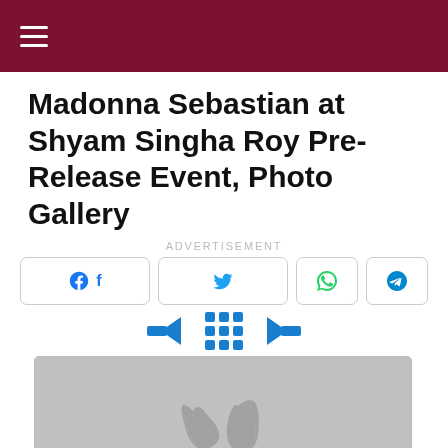≡
Madonna Sebastian at Shyam Singha Roy Pre-Release Event, Photo Gallery
ADVERTISEMENT
[Figure (screenshot): Social share buttons: Facebook, Twitter, WhatsApp, Telegram]
[Figure (screenshot): Navigation arrows and grid icon for photo gallery]
[Figure (photo): Placeholder image with film strip logo watermark on grey background]